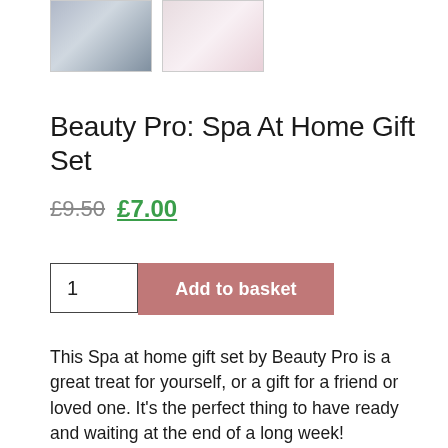[Figure (photo): Two product thumbnail images: left shows a gift set with cards and products on dark background, right shows a decorative item with pink roses]
Beauty Pro: Spa At Home Gift Set
£9.50 £7.00
[Figure (other): Quantity input box showing '1' and 'Add to basket' button in dusty rose/mauve color]
This Spa at home gift set by Beauty Pro is a great treat for yourself, or a gift for a friend or loved one. It's the perfect thing to have ready and waiting at the end of a long week!
Inside this gift box, you will find a luxury range of sheet masks for the perfect spa at home treatment. They can